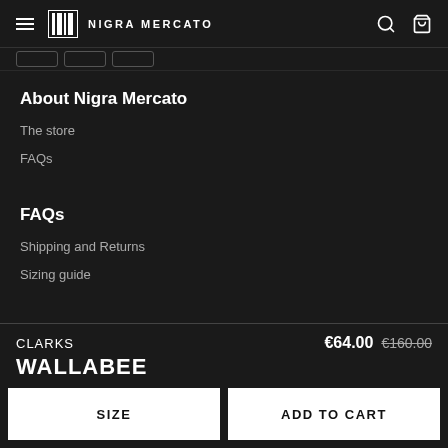NIGRA MERCATO
About Nigra Mercato
The store
FAQs
FAQs
Shipping and Returns
Sizing guide
Info Legal
CLARKS WALLABEE €64.00 €160.00
SIZE  ADD TO CART